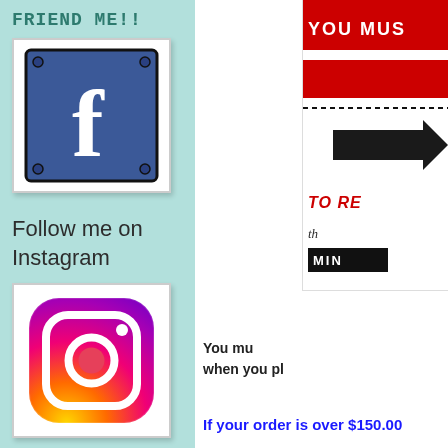FRIEND ME!!
[Figure (logo): Facebook logo - white letter f on dark blue square background with rounded corners and corner screws, in a white box]
Follow me on Instagram
[Figure (logo): Instagram logo - camera icon with gradient background (purple to orange) and white outline ring]
[Figure (infographic): Partial visible infographic on the right side with red and black elements, text fragments: YOU MUS, TO RE, MINI]
You mu when you pl
If your order is over $150.00